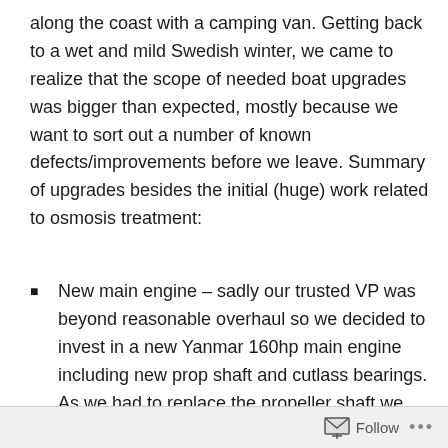along the coast with a camping van. Getting back to a wet and mild Swedish winter, we came to realize that the scope of needed boat upgrades was bigger than expected, mostly because we want to sort out a number of known defects/improvements before we leave. Summary of upgrades besides the initial (huge) work related to osmosis treatment:
New main engine – sadly our trusted VP was beyond reasonable overhaul so we decided to invest in a new Yanmar 160hp main engine including new prop shaft and cutlass bearings. As we had to replace the propeller shaft we also mounted a Ropecutter, which has a reputation of good performance and low maintenance.
Our 1997 Furuno Radar has been replaced by a 4kw...
Follow